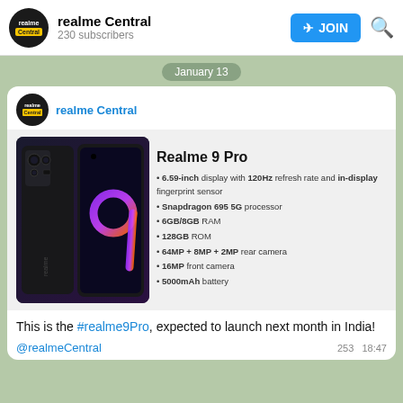realme Central — 230 subscribers
January 13
realme Central
[Figure (photo): Realme 9 Pro smartphone shown from back and front angles with purple neon number 9 design on back, beside product specification card listing: Realme 9 Pro, 6.59-inch display with 120Hz refresh rate and in-display fingerprint sensor, Snapdragon 695 5G processor, 6GB/8GB RAM, 128GB ROM, 64MP + 8MP + 2MP rear camera, 16MP front camera, 5000mAh battery]
This is the #realme9Pro, expected to launch next month in India!
@realmeCentral   253   18:47